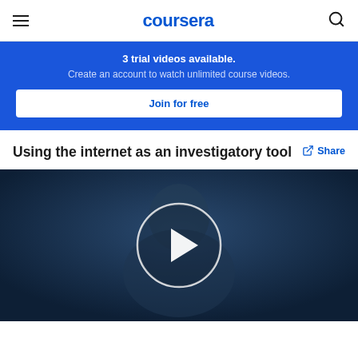coursera
3 trial videos available. Create an account to watch unlimited course videos.
Join for free
Using the internet as an investigatory tool
Share
[Figure (screenshot): Video thumbnail showing a person with a play button overlay, dark blue toned image for a Coursera video lecture.]